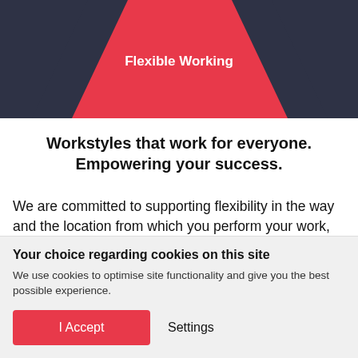[Figure (illustration): Red banner header with dark navy chevron/V-shaped triangles on left and right sides, and centered white bold text reading 'Flexible Working']
Workstyles that work for everyone. Empowering your success.
We are committed to supporting flexibility in the way and the location from which you perform your work, enabling you to work productively, flexibly and safely. We will provide you with the tools and allowances needed to do your work
Your choice regarding cookies on this site
We use cookies to optimise site functionality and give you the best possible experience.
I Accept    Settings